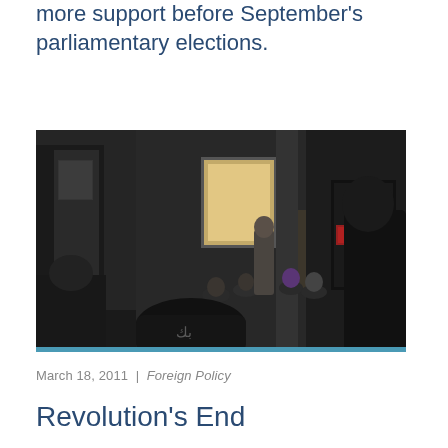more support before September's parliamentary elections.
[Figure (photo): Indoor gathering scene showing a group of people seated and standing in a dimly lit room with bare concrete walls. A man stands on the right side. A banner with Arabic text is visible on the right wall. A window with light streams in from the background center.]
March 18, 2011 | Foreign Policy
Revolution's End